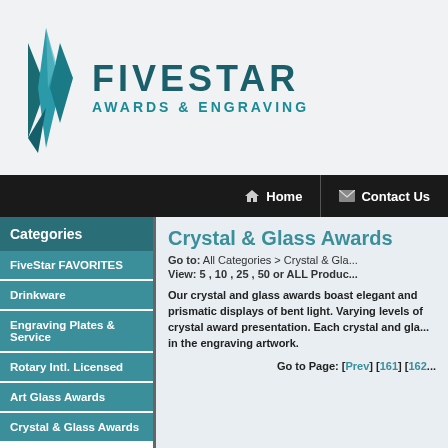[Figure (logo): FiveStar Awards & Engraving logo with teal geometric diamond shape and bold teal text]
Home | Contact Us
Categories
FiveStar FAVORITES
Drinkware
Engraving Plates & Service
Rotary Intl. Licensed
Art Glass Awards
Crystal & Glass Awards
Crystal & Glass Awards
Go to: All Categories > Crystal & Gla...
View: 5 , 10 , 25 , 50 or ALL Produc...
Our crystal and glass awards boast elegant and prismatic displays of bent light. Varying levels of crystal award presentation. Each crystal and gla... in the engraving artwork.
Go to Page: [Prev] [161] [162...